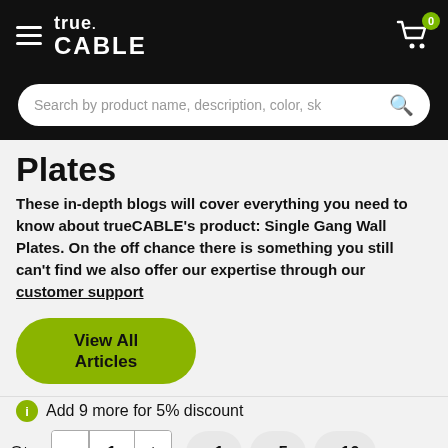true CABLE
Search by product name, description, color, sk
Plates
These in-depth blogs will cover everything you need to know about trueCABLE's product: Single Gang Wall Plates. On the off chance there is something you still can't find we also offer our expertise through our customer support
View All Articles
Add 9 more for 5% discount
Qty: 1  +1  +5  +10
Add to cart
TrustedSite CERTIFIED SECURE